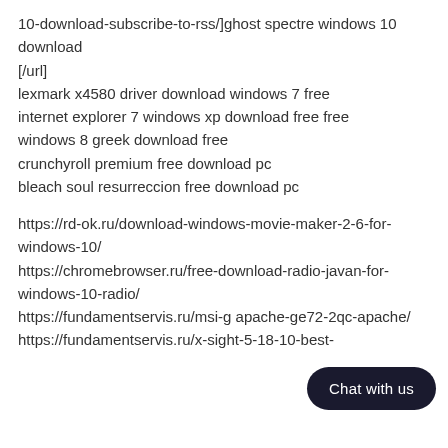10-download-subscribe-to-rss/]ghost spectre windows 10 download
[/url]
lexmark x4580 driver download windows 7 free
internet explorer 7 windows xp download free free
windows 8 greek download free
crunchyroll premium free download pc
bleach soul resurreccion free download pc
https://rd-ok.ru/download-windows-movie-maker-2-6-for-windows-10/
https://chromebrowser.ru/free-download-radio-javan-for-windows-10-radio/
https://fundamentservis.ru/msi-g apache-ge72-2qc-apache/
https://fundamentservis.ru/x-sight-5-18-10-best-